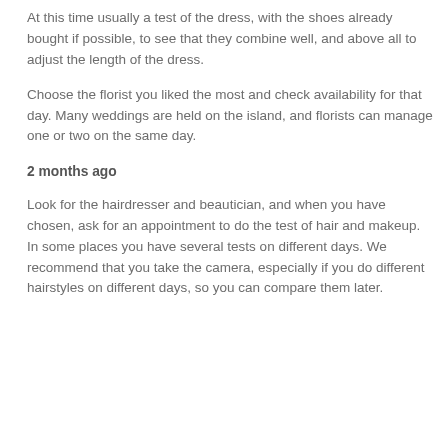dress (lingerie, shoes, headdresses, etc.) and the groom.
Book the honeymoon trip.
At this time usually a test of the dress, with the shoes already bought if possible, to see that they combine well, and above all to adjust the length of the dress.
Choose the florist you liked the most and check availability for that day. Many weddings are held on the island, and florists can manage one or two on the same day.
2 months ago
Look for the hairdresser and beautician, and when you have chosen, ask for an appointment to do the test of hair and makeup. In some places you have several tests on different days. We recommend that you take the camera, especially if you do different hairstyles on different days, so you can compare them later.